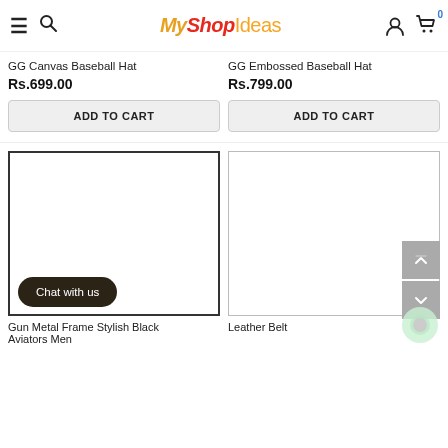MyShopIdeas — navigation header with hamburger, search, logo, user and cart icons
GG Canvas Baseball Hat
Rs.699.00
ADD TO CART
GG Embossed Baseball Hat
Rs.799.00
ADD TO CART
[Figure (photo): Product image placeholder for Gun Metal Frame Stylish Black Aviators Men]
Gun Metal Frame Stylish Black Aviators Men
[Figure (photo): Product image placeholder for Leather Belt]
Leather Belt